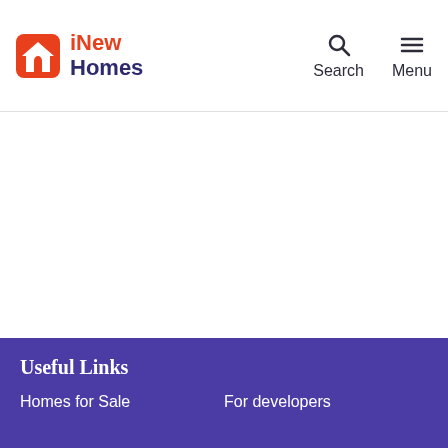iNew Homes — Search, Menu
Useful Links
Homes for Sale
For developers